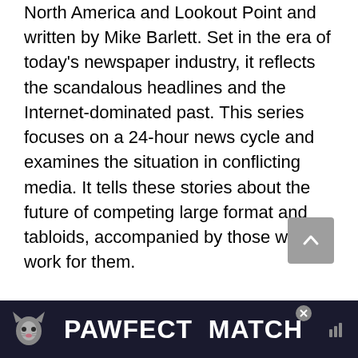North America and Lookout Point and written by Mike Barlett. Set in the era of today's newspaper industry, it reflects the scandalous headlines and the Internet-dominated past. This series focuses on a 24-hour news cycle and examines the situation in conflicting media. It tells these stories about the future of competing large format and tabloids, accompanied by those who work for them.
The first season of the show was well received and critics unanimously praised the show. The question arises here. Is there a “press” season 2? We’ll pursue that question, but first, let’s take a quick dive into the details of the series.
[Figure (other): Advertisement banner for 'PAWFECT MATCH' featuring a cat graphic, with a close button (X) and sound icon, on a dark navy background.]